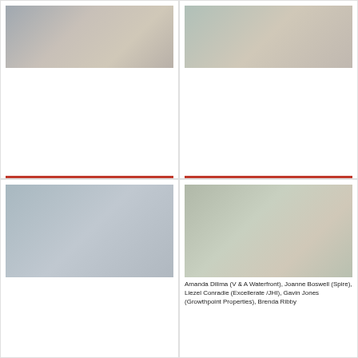[Figure (photo): People seated at a table at an event, with food and drinks on the table.]
[Figure (photo): Person serving food at a buffet station, holding a tray.]
[Figure (photo): People serving themselves at a buffet station outdoors.]
[Figure (photo): Group of people posing together for a photo at an event.]
Amanda Dilima (V & A Waterfront), Joanne Boswell (Spire), Liezel Conradie (Excellerate /JHI), Gavin Jones (Growthpoint Properties), Brenda Ribby